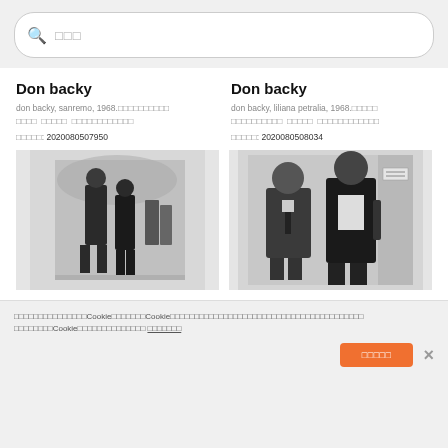検索 (search placeholder)
Don backy
don backy, sanremo, 1968.写真タグ テキスト タグ 写真タグテキストタグ
写真番号: 2020080507950
[Figure (photo): Black and white photo of Don Backy walking at Sanremo 1968]
Don backy
don backy, liliana petralia, 1968.写真タグ 写真タグテキスト タグ 写真タグテキストタグ
写真番号: 2020080508034
[Figure (photo): Black and white photo of Don Backy with Liliana Petralia 1968]
このサイトではCookieを使用しています。Cookieの使用に関する詳細はプライバシーポリシーをご覧ください。このサイトを使用することで、Cookieの使用に同意したことになります。 詳細情報